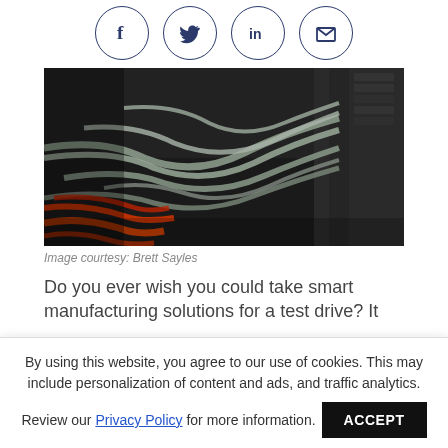[Figure (infographic): Four social media share icons in circles: Facebook (f), Twitter (bird), LinkedIn (in), Email (envelope)]
[Figure (photo): Close-up photo of network cables and wiring connected to server equipment, with orange and gray cables visible against a dark background]
Image courtesy: Brett Sayles
Do you ever wish you could take smart manufacturing solutions for a test drive? It
By using this website, you agree to our use of cookies. This may include personalization of content and ads, and traffic analytics.
Review our Privacy Policy for more information.